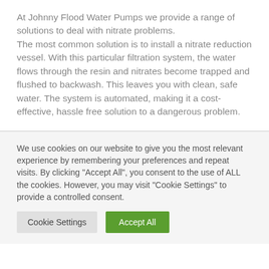At Johnny Flood Water Pumps we provide a range of solutions to deal with nitrate problems. The most common solution is to install a nitrate reduction vessel. With this particular filtration system, the water flows through the resin and nitrates become trapped and flushed to backwash. This leaves you with clean, safe water. The system is automated, making it a cost-effective, hassle free solution to a dangerous problem.
We use cookies on our website to give you the most relevant experience by remembering your preferences and repeat visits. By clicking "Accept All", you consent to the use of ALL the cookies. However, you may visit "Cookie Settings" to provide a controlled consent.